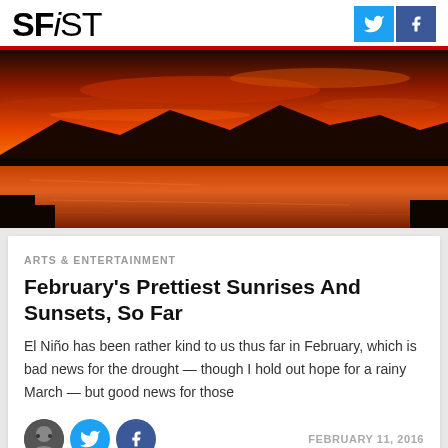SFiST
[Figure (photo): Dramatic orange and red sunset/sunrise over a lake with silhouetted mountains and reflections on the water]
ARTS & ENTERTAINMENT
February's Prettiest Sunrises And Sunsets, So Far
El Niño has been rather kind to us thus far in February, which is bad news for the drought — though I hold out hope for a rainy March — but good news for those
FEBRUARY 11, 2016
[Figure (photo): Partial bottom preview image, appears to show a road or street scene]